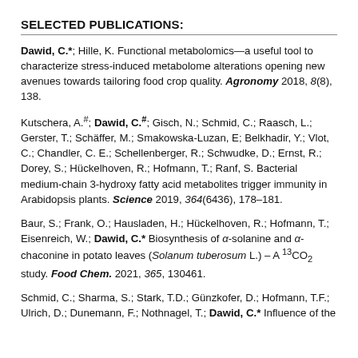SELECTED PUBLICATIONS:
Dawid, C.*; Hille, K. Functional metabolomics—a useful tool to characterize stress-induced metabolome alterations opening new avenues towards tailoring food crop quality. Agronomy 2018, 8(8), 138.
Kutschera, A.#; Dawid, C.#; Gisch, N.; Schmid, C.; Raasch, L.; Gerster, T.; Schäffer, M.; Smakowska-Luzan, E; Belkhadir, Y.; Vlot, C.; Chandler, C. E.; Schellenberger, R.; Schwudke, D.; Ernst, R.; Dorey, S.; Hückelhoven, R.; Hofmann, T.; Ranf, S. Bacterial medium-chain 3-hydroxy fatty acid metabolites trigger immunity in Arabidopsis plants. Science 2019, 364(6436), 178–181.
Baur, S.; Frank, O.; Hausladen, H.; Hückelhoven, R.; Hofmann, T.; Eisenreich, W.; Dawid, C.* Biosynthesis of α-solanine and α-chaconine in potato leaves (Solanum tuberosum L.) – A 13CO2 study. Food Chem. 2021, 365, 130461.
Schmid, C.; Sharma, S.; Stark, T.D.; Günzkofer, D.; Hofmann, T.F.; Ulrich, D.; Dunemann, F.; Nothnagel, T.; Dawid, C.* Influence of the